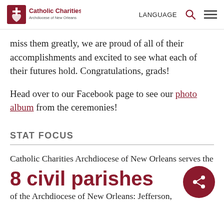Catholic Charities Archdiocese of New Orleans | LANGUAGE
miss them greatly, we are proud of all of their accomplishments and excited to see what each of their futures hold. Congratulations, grads!
Head over to our Facebook page to see our photo album from the ceremonies!
STAT FOCUS
Catholic Charities Archdiocese of New Orleans serves the
8 civil parishes
of the Archdiocese of New Orleans: Jefferson,